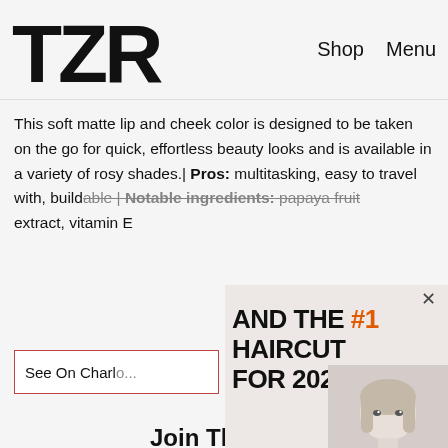TZR   Shop   Menu
This soft matte lip and cheek color is designed to be taken on the go for quick, effortless beauty looks and is available in a variety of rosy shades.| Pros: multitasking, easy to travel with, buildable | Notable ingredients: papaya fruit extract, vitamin E
See On Charl...
[Figure (screenshot): Popup overlay showing text 'AND THE #1 HAIRCUT FOR 2022 IS...' with a blonde woman's headshot photo and a close (×) button.]
Join The List
Sign up for TZR's exclusive email list to uncover this season's top trends
Email address   Subscribe